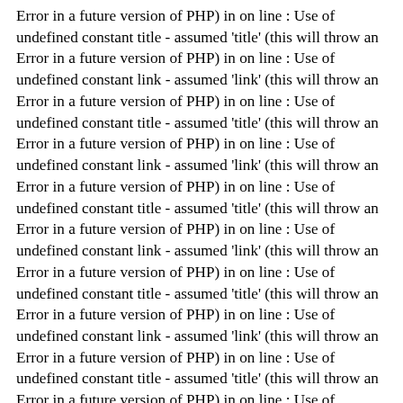Error in a future version of PHP) in on line : Use of undefined constant title - assumed 'title' (this will throw an Error in a future version of PHP) in on line : Use of undefined constant link - assumed 'link' (this will throw an Error in a future version of PHP) in on line : Use of undefined constant title - assumed 'title' (this will throw an Error in a future version of PHP) in on line : Use of undefined constant link - assumed 'link' (this will throw an Error in a future version of PHP) in on line : Use of undefined constant title - assumed 'title' (this will throw an Error in a future version of PHP) in on line : Use of undefined constant link - assumed 'link' (this will throw an Error in a future version of PHP) in on line : Use of undefined constant title - assumed 'title' (this will throw an Error in a future version of PHP) in on line : Use of undefined constant link - assumed 'link' (this will throw an Error in a future version of PHP) in on line : Use of undefined constant title - assumed 'title' (this will throw an Error in a future version of PHP) in on line : Use of undefined constant link - assumed 'link' (this will throw an Error in a future version of PHP) in on line : Use of undefined constant title - assumed 'title' (this will throw an Error in a future version of PHP) in on line : Use of undefined constant link - assumed 'link' (this will throw an Error in a future version of PHP) in on line : Use of undefined constant title - assumed 'title' (this will throw an Error in a future version of PHP) in on line : Use of undefined constant link - assumed 'link' (this will throw an Error in a future version of PHP) in on line : Use of undefined constant title - assumed 'title' (this will throw an Error in a future version of PHP) in on line : Use of undefined constant link - assumed 'link' (this will throw an Error in a future version of PHP) in on line : Use of undefined constant title - assumed 'title' (this will throw an Error in a future version of PHP) in on line : Use of undefined constant link - assumed 'link' (this will throw an Error in a future version of PHP) in on line : Use of undefined constant title - assumed 'title' (this will throw an Error in a future